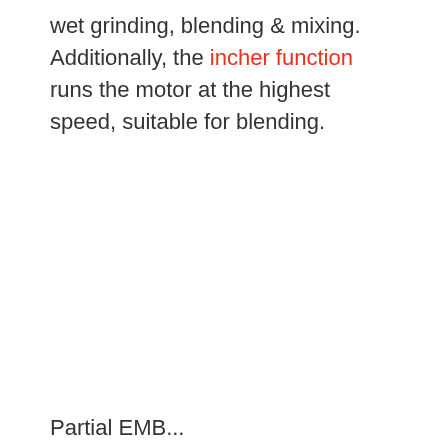wet grinding, blending & mixing. Additionally, the incher function runs the motor at the highest speed, suitable for blending.
Partial EMB...